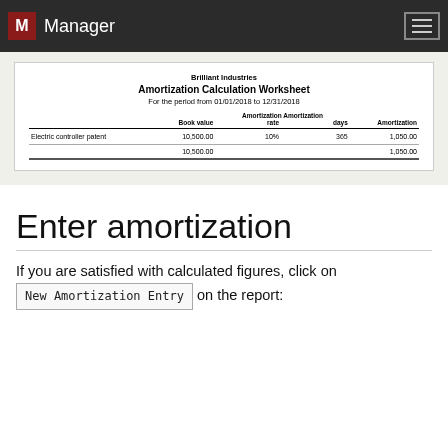Manager
[Figure (screenshot): Amortization Calculation Worksheet for Brilliant Industries, period 01/01/2018 to 12/31/2018, showing Electric controller patent with book value 10,500.00, rate 10%, days 365, amortization 1,050.00. Total row: 10,500.00 and 1,050.00.]
Enter amortization
If you are satisfied with calculated figures, click on New Amortization Entry on the report: